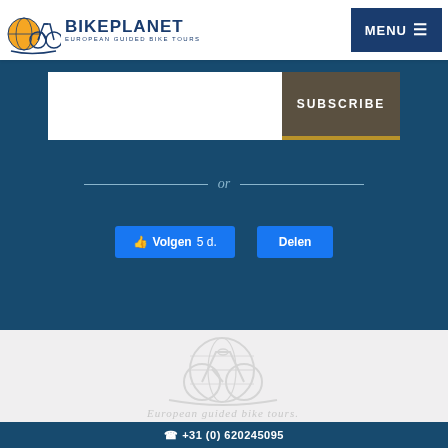BIKE PLANET - EUROPEAN GUIDED BIKE TOURS | MENU
[Figure (screenshot): Dark blue newsletter subscription section with a white input field, a dark Subscribe button with gold underline, an 'or' divider, and two Facebook buttons: 'Volgen 5 d.' and 'Delen']
[Figure (logo): Bike Planet watermark logo with bicycle and globe illustration and text 'European guided bike tours.' in light gray on light gray background]
+31 (0) 620245095